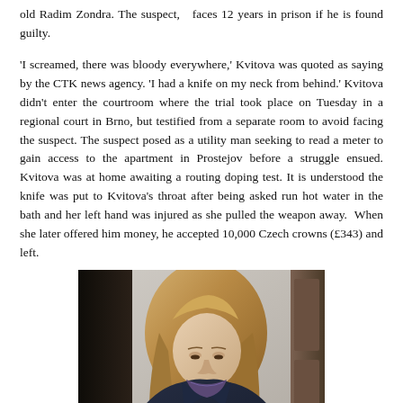old Radim Zondra. The suspect, faces 12 years in prison if he is found guilty.
'I screamed, there was bloody everywhere,' Kvitova was quoted as saying by the CTK news agency. 'I had a knife on my neck from behind.' Kvitova didn't enter the courtroom where the trial took place on Tuesday in a regional court in Brno, but testified from a separate room to avoid facing the suspect. The suspect posed as a utility man seeking to read a meter to gain access to the apartment in Prostejov before a struggle ensued. Kvitova was at home awaiting a routing doping test. It is understood the knife was put to Kvitova's throat after being asked run hot water in the bath and her left hand was injured as she pulled the weapon away.  When she later offered him money, he accepted 10,000 Czech crowns (£343) and left.
[Figure (photo): Photograph of a young woman with long blonde hair wearing a dark jacket and purple scarf, looking downward, with a dark figure on the left and a wooden door frame on the right.]